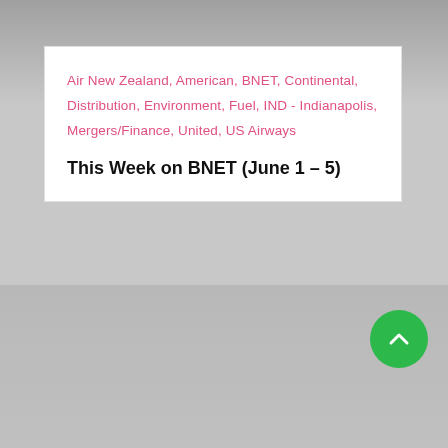Air New Zealand, American, BNET, Continental, Distribution, Environment, Fuel, IND - Indianapolis, Mergers/Finance, United, US Airways
This Week on BNET (June 1 – 5)
[Figure (other): Gray gradient background area at bottom of page with a green circular scroll-to-top button containing an upward chevron arrow]